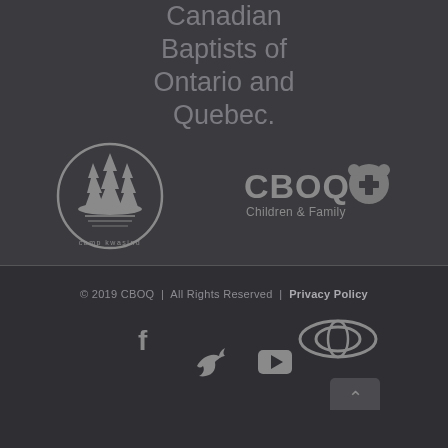Canadian Baptists of Ontario and Quebec.
[Figure (logo): Camp Kwasind circular logo with pine trees and island silhouette]
[Figure (logo): CBOQ Children & Family logo with bear and cross icon]
© 2019 CBOQ  |  All Rights Reserved  |  Privacy Policy
[Figure (infographic): Social media icons: Facebook, Twitter, YouTube, and Toyota-style oval icon, plus scroll-up arrow]